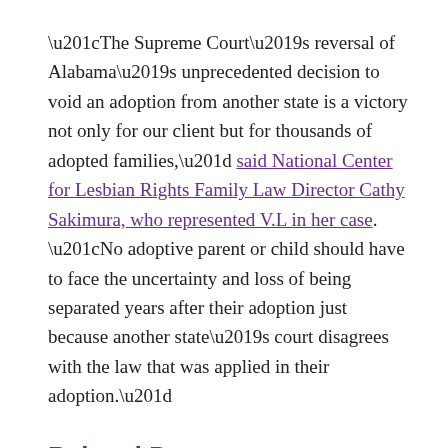“The Supreme Court’s reversal of Alabama’s unprecedented decision to void an adoption from another state is a victory not only for our client but for thousands of adopted families,” said National Center for Lesbian Rights Family Law Director Cathy Sakimura, who represented V.L in her case. “No adoptive parent or child should have to face the uncertainty and loss of being separated years after their adoption just because another state’s court disagrees with the law that was applied in their adoption.”
Related Posts
SOURCES: The Los Angeles Times 3/7/16;